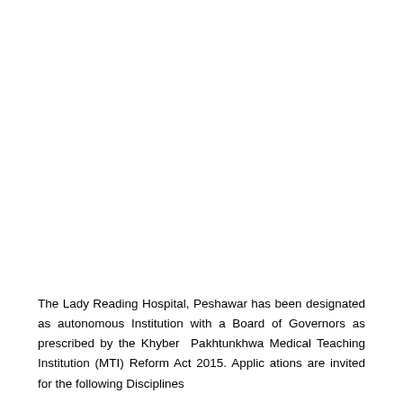The Lady Reading Hospital, Peshawar has been designated as autonomous Institution with a Board of Governors as prescribed by the Khyber Pakhtunkhwa Medical Teaching Institution (MTI) Reform Act 2015. Applications are invited for the following Disciplines